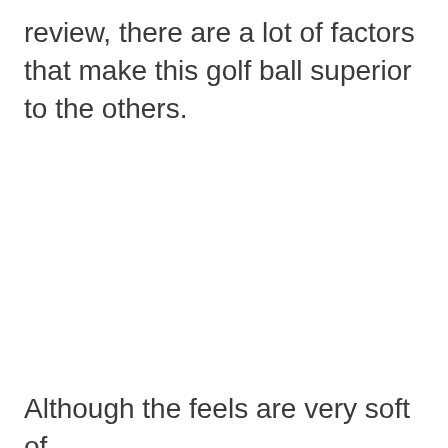review, there are a lot of factors that make this golf ball superior to the others.
Although the feels are very soft of